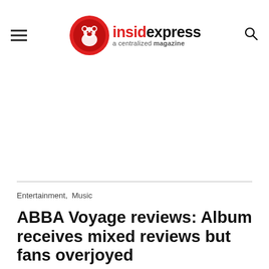insidexpress a centralized magazine
Entertainment,  Music
ABBA Voyage reviews: Album receives mixed reviews but fans overjoyed